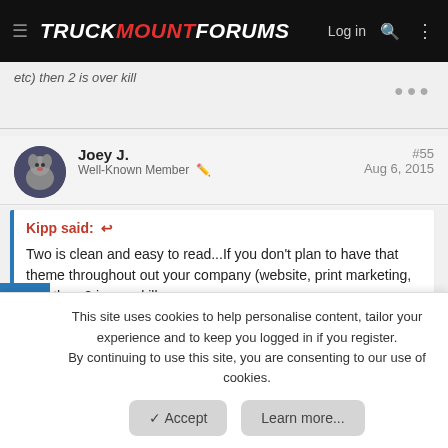TRUCKMOUNTFORUMS — Log in
etc) then 2 is over kill
Joey J.
Well-Known Member
#55
Aug 6, 2015
Kipp said: Two is clean and easy to read...If you don't plan to have that theme throughout out your company (website, print marketing, etc) then 2 is over kill
This site uses cookies to help personalise content, tailor your experience and to keep you logged in if you register.
By continuing to use this site, you are consenting to our use of cookies.